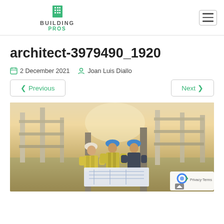Building Pros
architect-3979490_1920
2 December 2021   Joan Luis Diallo
< Previous
Next >
[Figure (photo): Three construction workers in yellow vests and hard hats reviewing blueprints at a concrete building construction site.]